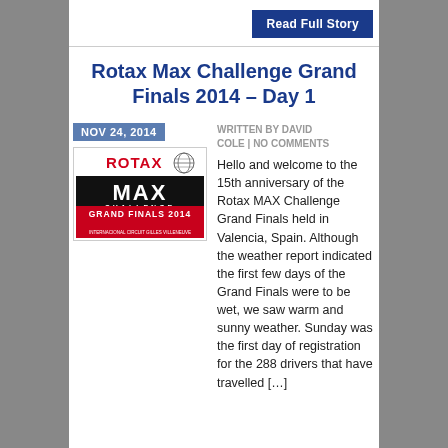Read Full Story
Rotax Max Challenge Grand Finals 2014 – Day 1
NOV 24, 2014
WRITTEN BY DAVID COLE | NO COMMENTS
[Figure (logo): Rotax MAX Challenge Grand Finals 2014 logo]
Hello and welcome to the 15th anniversary of the Rotax MAX Challenge Grand Finals held in Valencia, Spain. Although the weather report indicated the first few days of the Grand Finals were to be wet, we saw warm and sunny weather. Sunday was the first day of registration for the 288 drivers that have travelled […]